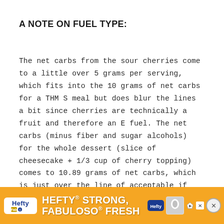A NOTE ON FUEL TYPE:
The net carbs from the sour cherries come to a little over 5 grams per serving, which fits into the 10 grams of net carbs for a THM S meal but does blur the lines a bit since cherries are technically a fruit and therefore an E fuel. The net carbs (minus fiber and sugar alcohols) for the whole dessert (slice of cheesecake + 1/3 cup of cherry topping) comes to 10.89 grams of net carbs, which is just over the line of acceptable if you're counting everything and not just the added carb source in your calculations. You have a couple of options: 1) Just enjoy it as an S + an extra carb, 2) use a little less than 1/3 cup of cherry topping on your
[Figure (other): Hefty advertisement banner with orange background. Text reads 'HEFTY STRONG, FABULOSO FRESH'. Shows Hefty logo on left and product image on right.]